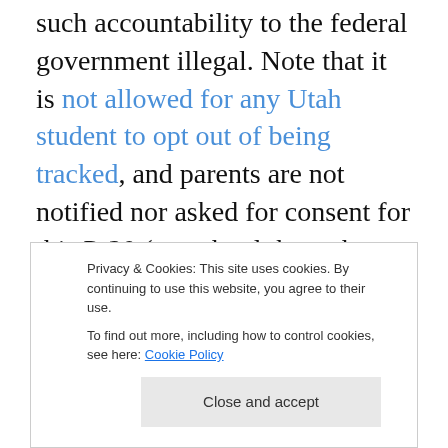such accountability to the federal government illegal. Note that it is not allowed for any Utah student to opt out of being tracked, and parents are not notified nor asked for consent for this P-20 (preschool through grade 20) surveillance.) Also in this application, Utah got points to adopt the Common Core (without having seen any empirical data to prove Common Core academically legitimate). This lure of federal money was how Utah got in to the current bind. Despite not winning any grant money, Utah unfortunately chose to remain in both the Common Core...
Privacy & Cookies: This site uses cookies. By continuing to use this website, you agree to their use. To find out more, including how to control cookies, see here: Cookie Policy